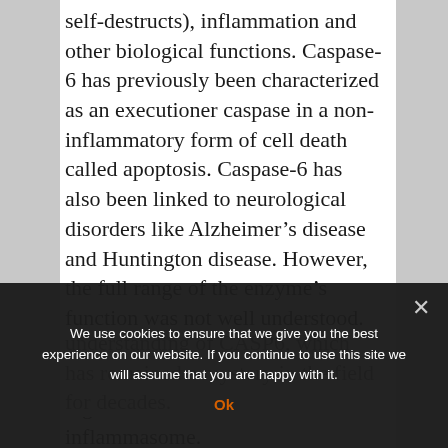self-destructs), inflammation and other biological functions. Caspase-6 has previously been characterized as an executioner caspase in a non-inflammatory form of cell death called apoptosis. Caspase-6 has also been linked to neurological disorders like Alzheimer's disease and Huntington disease. However, the full range of the enzyme's function was not well understood. Now, researchers have discovered for the first time how caspase-6 regulates the ZBP1-NLRP3 inflammasome.
We use cookies to ensure that we give you the best experience on our website. If you continue to use this site we will assume that you are happy with it.
understanding of CASP6, which has remained a mystery in the field for decades.